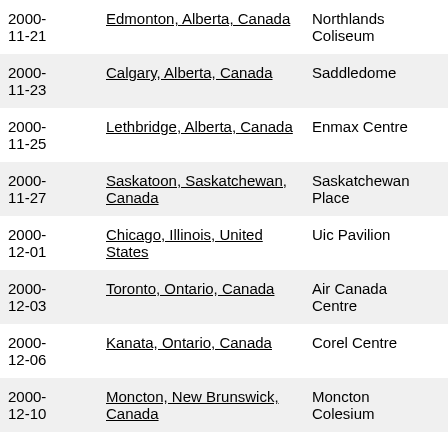| Date | Location | Venue |  |
| --- | --- | --- | --- |
| 2000-11-21 | Edmonton, Alberta, Canada | Northlands Coliseum | setlist |
| 2000-11-23 | Calgary, Alberta, Canada | Saddledome | setlist |
| 2000-11-25 | Lethbridge, Alberta, Canada | Enmax Centre | setlist |
| 2000-11-27 | Saskatoon, Saskatchewan, Canada | Saskatchewan Place | setlist |
| 2000-12-01 | Chicago, Illinois, United States | Uic Pavilion | setlist |
| 2000-12-03 | Toronto, Ontario, Canada | Air Canada Centre | setlist |
| 2000-12-06 | Kanata, Ontario, Canada | Corel Centre | setlist |
| 2000-12-10 | Moncton, New Brunswick, Canada | Moncton Colesium | setlist |